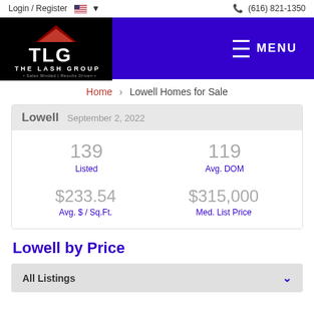Login / Register  🇺🇸 ▾   (616) 821-1350
[Figure (logo): TLG The Lash Group logo with red roof icon, white text on black background, inside a dark blue navigation bar with MENU button]
Home > Lowell Homes for Sale
| Metric | Value |
| --- | --- |
| Listed | 139 |
| Avg. DOM | 119 |
| Avg. $ / Sq.Ft. | $233.54 |
| Med. List Price | $315,000 |
Lowell by Price
All Listings